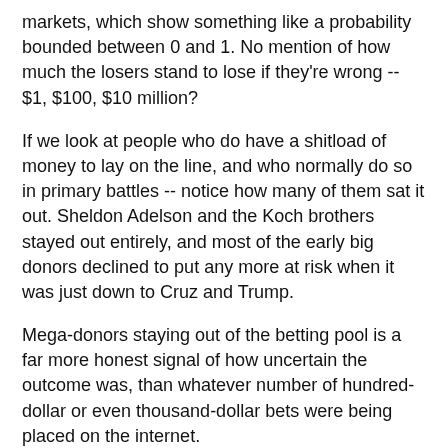markets, which show something like a probability bounded between 0 and 1. No mention of how much the losers stand to lose if they're wrong -- $1, $100, $10 million?
If we look at people who do have a shitload of money to lay on the line, and who normally do so in primary battles -- notice how many of them sat it out. Sheldon Adelson and the Koch brothers stayed out entirely, and most of the early big donors declined to put any more at risk when it was just down to Cruz and Trump.
Mega-donors staying out of the betting pool is a far more honest signal of how uncertain the outcome was, than whatever number of hundred-dollar or even thousand-dollar bets were being placed on the internet.
I still stick by the statement that it was highly uncertain what would happen. If the process played out fairly, it was guaranteed that Trump would win -- that was clear from last fall.
But what was uncertain was the lengths that any number of